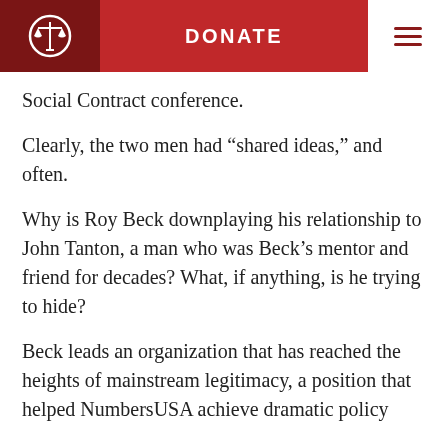DONATE
Social Contract conference.
Clearly, the two men had “shared ideas,” and often.
Why is Roy Beck downplaying his relationship to John Tanton, a man who was Beck’s mentor and friend for decades? What, if anything, is he trying to hide?
Beck leads an organization that has reached the heights of mainstream legitimacy, a position that helped NumbersUSA achieve dramatic policy